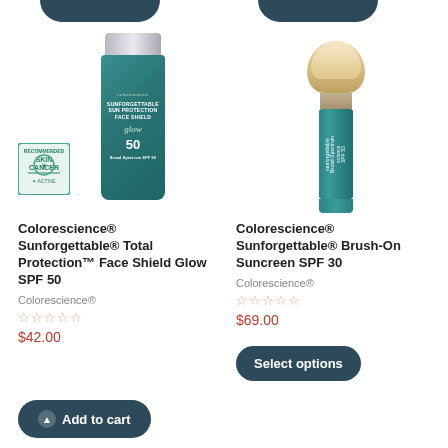[Figure (photo): Colorescience Sunforgettable Total Protection Face Shield Glow SPF 50 teal bottle with silver cap and Skin Cancer Foundation Active badge]
Colorescience® Sunforgettable® Total Protection™ Face Shield Glow SPF 50
Colorescience®
$42.00
[Figure (photo): Colorescience Sunforgettable Brush-On Sunscreen SPF 30 teal brush applicator with powder brush head]
Colorescience® Sunforgettable® Brush-On Suncreen SPF 30
Colorescience®
$69.00